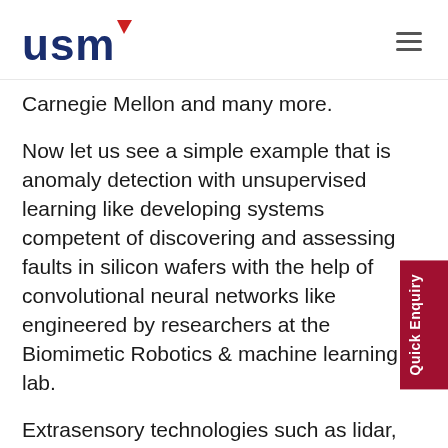USM
Carnegie Mellon and many more.
Now let us see a simple example that is anomaly detection with unsupervised learning like developing systems competent of discovering and assessing faults in silicon wafers with the help of convolutional neural networks like engineered by researchers at the Biomimetic Robotics & machine learning lab.
Extrasensory technologies such as lidar, radar, and ultrasound, like those from Nvidia, are also driving the development of 360-degree vision-based systems for drones and autonomous vehicles.